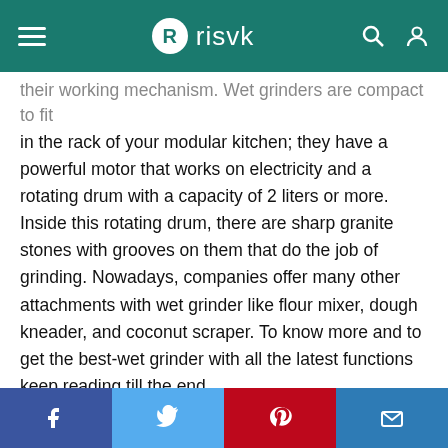risvk
their working mechanism. Wet grinders are compact to fit in the rack of your modular kitchen; they have a powerful motor that works on electricity and a rotating drum with a capacity of 2 liters or more. Inside this rotating drum, there are sharp granite stones with grooves on them that do the job of grinding. Nowadays, companies offer many other attachments with wet grinder like flour mixer, dough kneader, and coconut scraper. To know more and to get the best-wet grinder with all the latest functions keep reading till the end.
Go through these important points before you begin with the main guide:
Facebook Twitter Pinterest Email